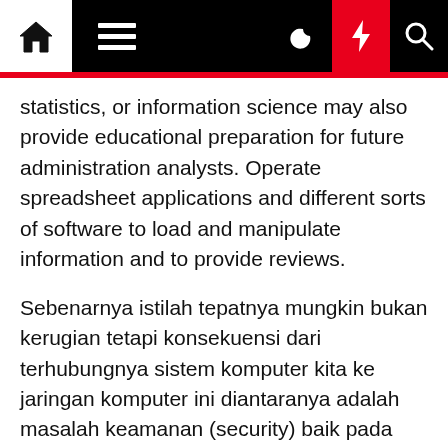Navigation bar with home, menu, dark mode, lightning, and search icons
statistics, or information science may also provide educational preparation for future administration analysts. Operate spreadsheet applications and different sorts of software to load and manipulate information and to provide reviews.
Sebenarnya istilah tepatnya mungkin bukan kerugian tetapi konsekuensi dari terhubungnya sistem komputer kita ke jaringan komputer ini diantaranya adalah masalah keamanan (security) baik pada pengaksesan berbagai sumberdaya dari pihak-pihak yang tidak berwenang maupun masalah keamanan (ancaman virus) pada information yang dipertukarkan. Here is why Cognizant staff are beneath 'pressure' The Nasdaq-listed IT services agency has shrunk the bench time from 60 days to 35 days for these workers who aren't on billable